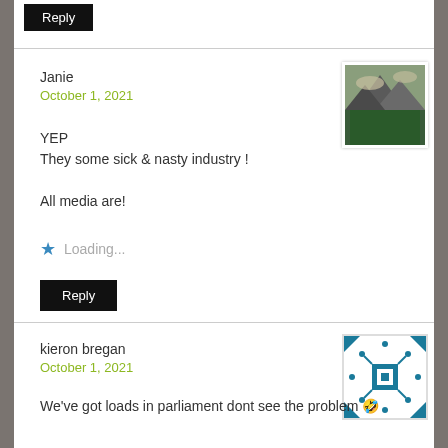Reply
Janie
October 1, 2021
[Figure (photo): Mountain landscape avatar image]
YEP
They some sick & nasty industry !

All media are!
Loading...
Reply
kieron bregan
October 1, 2021
[Figure (illustration): Blue geometric pattern avatar]
We've got loads in parliament dont see the problem 🤣